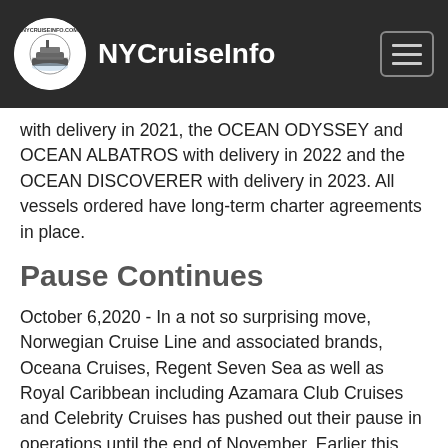NYCruiseInfo
with delivery in 2021, the OCEAN ODYSSEY and OCEAN ALBATROS with delivery in 2022 and the OCEAN DISCOVERER with delivery in 2023. All vessels ordered have long-term charter agreements in place.
Pause Continues
October 6,2020 - In a not so surprising move, Norwegian Cruise Line and associated brands, Oceana Cruises, Regent Seven Sea as well as Royal Caribbean including Azamara Club Cruises and Celebrity Cruises has pushed out their pause in operations until the end of November. Earlier this week the announcement was made to push out the start until the end of October - but the cruise lines